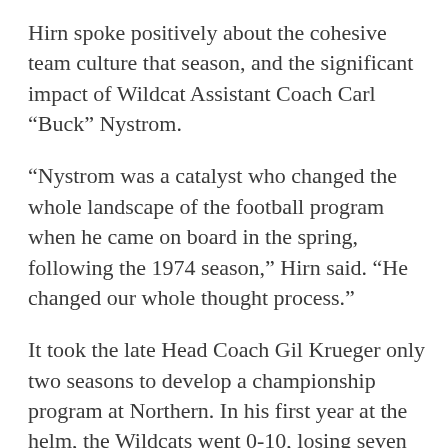Hirn spoke positively about the cohesive team culture that season, and the significant impact of Wildcat Assistant Coach Carl “Buck” Nystrom.
“Nystrom was a catalyst who changed the whole landscape of the football program when he came on board in the spring, following the 1974 season,” Hirn said. “He changed our whole thought process.”
It took the late Head Coach Gil Krueger only two seasons to develop a championship program at Northern. In his first year at the helm, the Wildcats went 0-10, losing seven of those games in the closing minutes. Fortunes reversed in 1975, when the team garnered several come-from-behind wins at the end of the regular season and through the playoffs to post an overall 12-1 record. The Wildcats